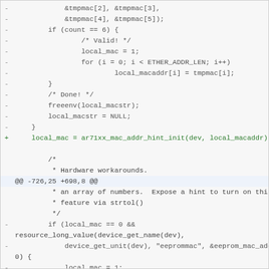Code diff showing removal of MAC address parsing logic and replacement with ar71xx_mac_addr_hint_init(), followed by a hunk header @@ -726,25 +698,8 @@ and context about hardware workarounds and eeprom mac address handling.